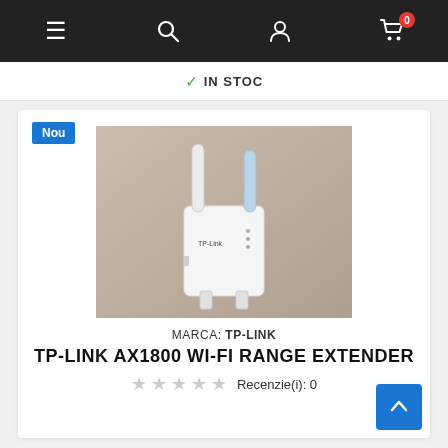Navigation bar with menu, search, account, and cart (0 items) icons
✓ IN STOC
Nou
[Figure (photo): TP-Link AX1800 Wi-Fi Range Extender product photo showing a white dual-antenna plug-in WiFi extender against a beige background]
MARCA: TP-LINK
TP-LINK AX1800 WI-FI RANGE EXTENDER
Recenzie(i): 0